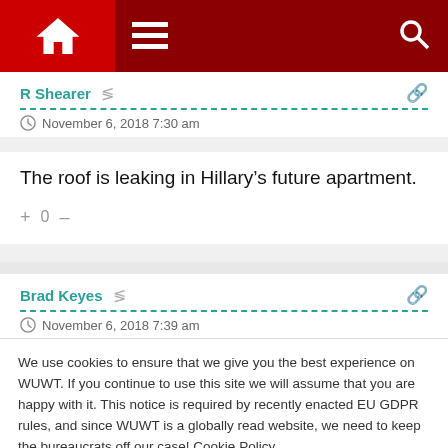WUWT navigation bar with home, menu, and search icons
R Shearer
November 6, 2018 7:30 am
The roof is leaking in Hillary's future apartment.
+ 0 -
Brad Keyes
November 6, 2018 7:39 am
We use cookies to ensure that we give you the best experience on WUWT. If you continue to use this site we will assume that you are happy with it. This notice is required by recently enacted EU GDPR rules, and since WUWT is a globally read website, we need to keep the bureaucrats off our case! Cookie Policy
Close and accept
Sinecures are sometimes the most humane arrangement.